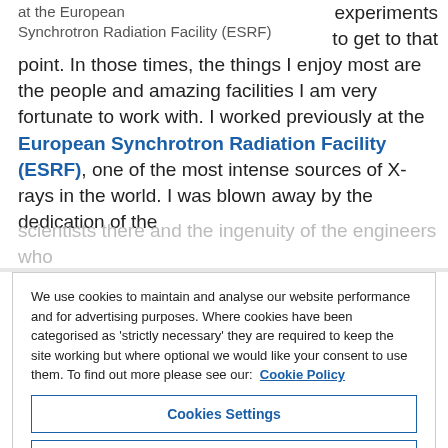at the European Synchrotron Radiation Facility (ESRF)
experiments to get to that point. In those times, the things I enjoy most are the people and amazing facilities I am very fortunate to work with. I worked previously at the European Synchrotron Radiation Facility (ESRF), one of the most intense sources of X-rays in the world. I was blown away by the dedication of the scientists there and the ingenuity of the engineers who
We use cookies to maintain and analyse our website performance and for advertising purposes. Where cookies have been categorised as 'strictly necessary' they are required to keep the site working but where optional we would like your consent to use them. To find out more please see our: Cookie Policy
Cookies Settings
Reject All